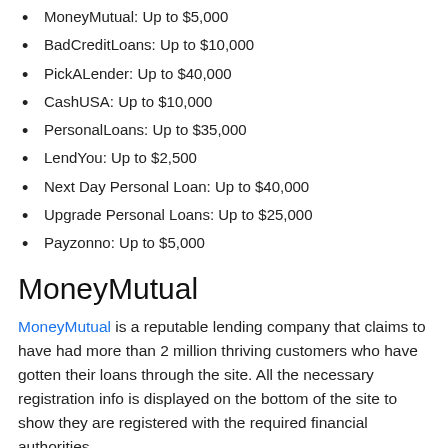MoneyMutual: Up to $5,000
BadCreditLoans: Up to $10,000
PickALender: Up to $40,000
CashUSA: Up to $10,000
PersonalLoans: Up to $35,000
LendYou: Up to $2,500
Next Day Personal Loan: Up to $40,000
Upgrade Personal Loans: Up to $25,000
Payzonno: Up to $5,000
MoneyMutual
MoneyMutual is a reputable lending company that claims to have had more than 2 million thriving customers who have gotten their loans through the site. All the necessary registration info is displayed on the bottom of the site to show they are registered with the required financial authorities.